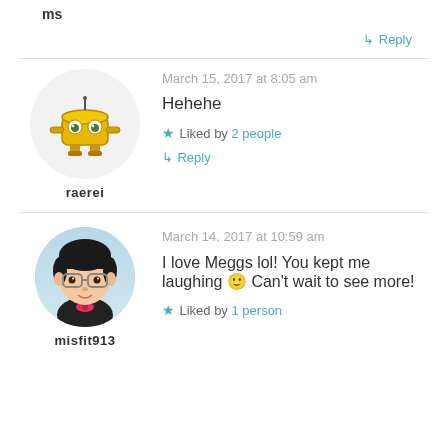ms
↳ Reply
[Figure (illustration): Yellow robot avatar in a circle for user raerei]
raerei
March 15, 2017 at 8:05 am
Hehehe
★ Liked by 2 people
↳ Reply
[Figure (illustration): Cartoon character avatar for user misfit913 with dark hair and glasses]
misfit913
March 14, 2017 at 10:59 am
I love Meggs lol! You kept me laughing 🙂 Can't wait to see more!
★ Liked by 1 person